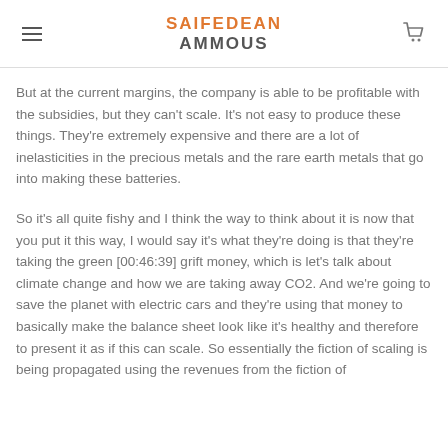SAIFEDEAN AMMOUS
But at the current margins, the company is able to be profitable with the subsidies, but they can't scale. It's not easy to produce these things. They're extremely expensive and there are a lot of inelasticities in the precious metals and the rare earth metals that go into making these batteries.
So it's all quite fishy and I think the way to think about it is now that you put it this way, I would say it's what they're doing is that they're taking the green [00:46:39] grift money, which is let's talk about climate change and how we are taking away CO2. And we're going to save the planet with electric cars and they're using that money to basically make the balance sheet look like it's healthy and therefore to present it as if this can scale. So essentially the fiction of scaling is being propagated using the revenues from the fiction of